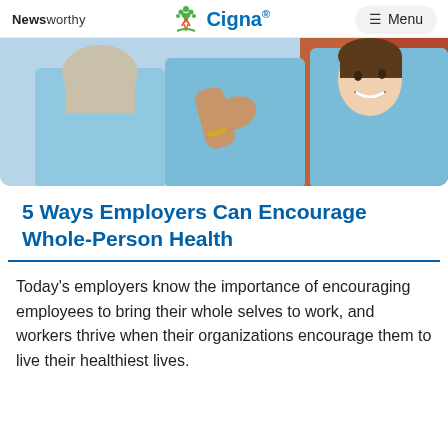Newsworthy  Cigna®   Menu
[Figure (photo): Group of people wearing light blue t-shirts, appearing to be at a community or volunteer event. A young woman is smiling in the background.]
5 Ways Employers Can Encourage Whole-Person Health
Today's employers know the importance of encouraging employees to bring their whole selves to work, and workers thrive when their organizations encourage them to live their healthiest lives.